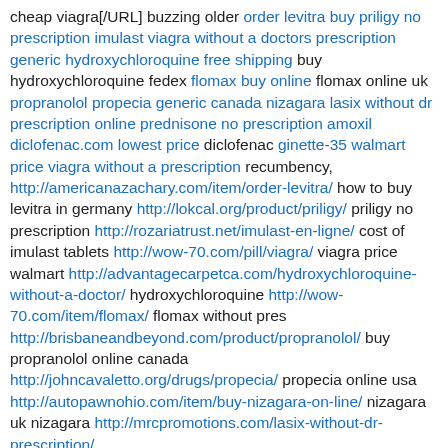cheap viagra[/URL] buzzing older order levitra buy priligy no prescription imulast viagra without a doctors prescription generic hydroxychloroquine free shipping buy hydroxychloroquine fedex flomax buy online flomax online uk propranolol propecia generic canada nizagara lasix without dr prescription online prednisone no prescription amoxil diclofenac.com lowest price diclofenac ginette-35 walmart price viagra without a prescription recumbency, http://americanazachary.com/item/order-levitra/ how to buy levitra in germany http://lokcal.org/product/priligy/ priligy no prescription http://rozariatrust.net/imulast-en-ligne/ cost of imulast tablets http://wow-70.com/pill/viagra/ viagra price walmart http://advantagecarpetca.com/hydroxychloroquine-without-a-doctor/ hydroxychloroquine http://wow-70.com/item/flomax/ flomax without pres http://brisbaneandbeyond.com/product/propranolol/ buy propranolol online canada http://johncavaletto.org/drugs/propecia/ propecia online usa http://autopawnohio.com/item/buy-nizagara-on-line/ nizagara uk nizagara http://mrcpromotions.com/lasix-without-dr-prescription/